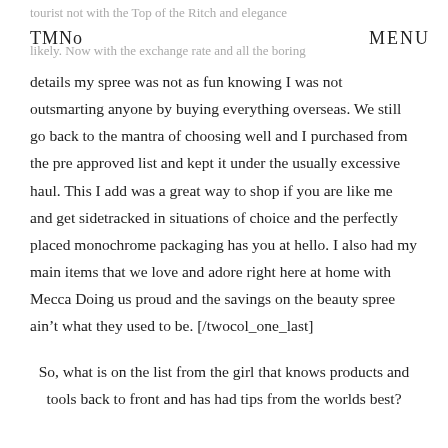TMNo  MENU
details my spree was not as fun knowing I was not outsmarting anyone by buying everything overseas. We still go back to the mantra of choosing well and I purchased from the pre approved list and kept it under the usually excessive haul. This I add was a great way to shop if you are like me and get sidetracked in situations of choice and the perfectly placed monochrome packaging has you at hello. I also had my main items that we love and adore right here at home with Mecca Doing us proud and the savings on the beauty spree ain't what they used to be. [/twocol_one_last]
So, what is on the list from the girl that knows products and tools back to front and has had tips from the worlds best?